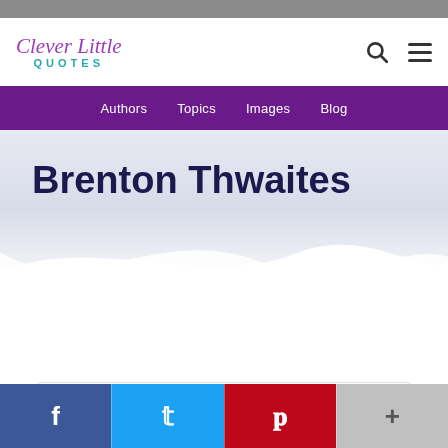Clever Little QUOTES
Authors  Topics  Images  Blog
Brenton Thwaites
I haven't had the whole for many...
[Figure (infographic): Social share bar with Facebook, Twitter, Pinterest, and more (+) buttons]